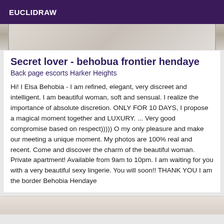EUCLIDRAW
[Figure (photo): Partial photo of a person in white clothing, cropped at top]
Secret lover - behobua frontier hendaye
Back page escorts Harker Heights
Hi! I Elsa Behobia - I am refined, elegant, very discreet and intelligent. I am beautiful woman, soft and sensual. I realize the importance of absolute discretion. ONLY FOR 10 DAYS, I propose a magical moment together and LUXURY. ... Very good compromise based on respect))))) O my only pleasure and make our meeting a unique moment. My photos are 100% real and recent. Come and discover the charm of the beautiful woman. Private apartment! Available from 9am to 10pm. I am waiting for you with a very beautiful sexy lingerie. You will soon!! THANK YOU I am the border Behobia Hendaye
[Figure (photo): Partial photo visible at bottom of page, cropped]